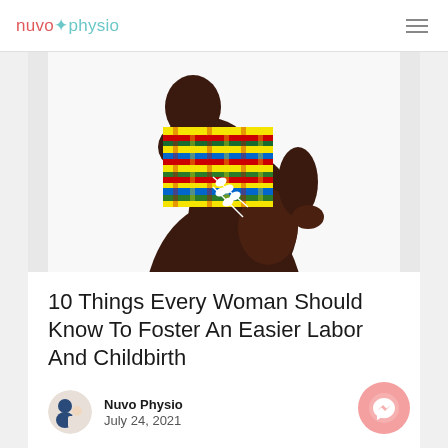nuvo physio
[Figure (photo): Pregnant woman photographed from behind, wearing colorful kente cloth fabric draped over her shoulder, with a decorative white leaf/branch jewelry piece hanging at her side. She is shown against a white background.]
10 Things Every Woman Should Know To Foster An Easier Labor And Childbirth
Nuvo Physio
July 24, 2021